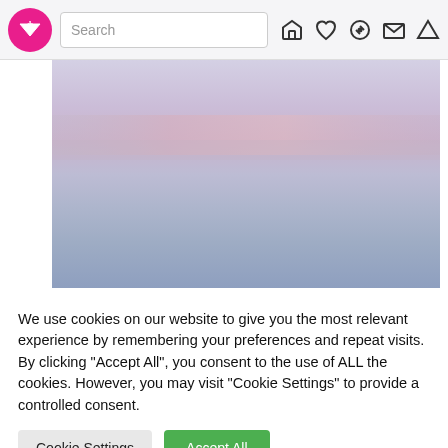[Figure (screenshot): Website navigation bar with pink circular logo with downward triangle icon, search box, and icons for home, heart, compass, mail, and filter]
[Figure (photo): Blurred soft-focus photograph of a misty seascape or landscape with pastel pink and blue-purple hues]
We use cookies on our website to give you the most relevant experience by remembering your preferences and repeat visits. By clicking "Accept All", you consent to the use of ALL the cookies. However, you may visit "Cookie Settings" to provide a controlled consent.
Cookie Settings | Accept All